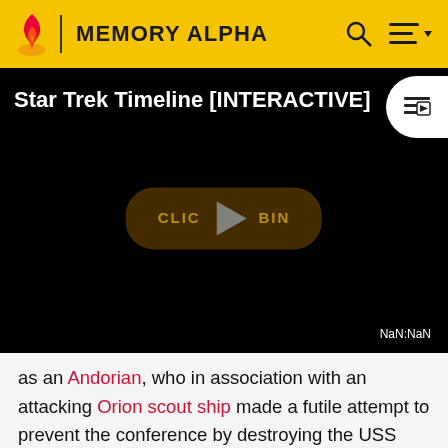MEMORY ALPHA
[Figure (screenshot): Video player showing 'Star Trek Timeline [INTERACTIVE]' with a black background, play button, 'CLICK TO BEGIN' button overlay, and NaN:NaN timestamp. YouTube playlist icon in top right corner.]
as an Andorian, who in association with an attacking Orion scout ship made a futile attempt to prevent the conference by destroying the USS Enterprise. Had their attack on Starfleet succeeded, they would have instigated mutual suspicion and possibly interplanetary